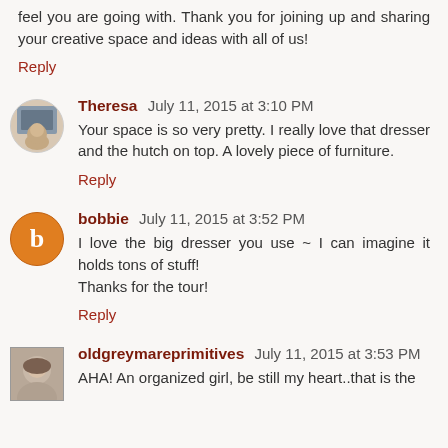feel you are going with. Thank you for joining up and sharing your creative space and ideas with all of us!
Reply
Theresa July 11, 2015 at 3:10 PM
Your space is so very pretty. I really love that dresser and the hutch on top. A lovely piece of furniture.
Reply
bobbie July 11, 2015 at 3:52 PM
I love the big dresser you use ~ I can imagine it holds tons of stuff!
Thanks for the tour!
Reply
oldgreymareprimitives July 11, 2015 at 3:53 PM
AHA! An organized girl, be still my heart..that is the